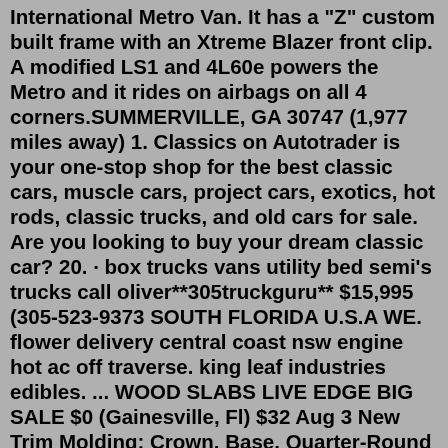International Metro Van. It has a "Z" custom built frame with an Xtreme Blazer front clip. A modified LS1 and 4L60e powers the Metro and it rides on airbags on all 4 corners.SUMMERVILLE, GA 30747 (1,977 miles away) 1. Classics on Autotrader is your one-stop shop for the best classic cars, muscle cars, project cars, exotics, hot rods, classic trucks, and old cars for sale. Are you looking to buy your dream classic car? 20. · box trucks vans utility bed semi's trucks call oliver**305truckguru** $15,995 (305-523-9373 SOUTH FLORIDA U.S.A WE. flower delivery central coast nsw engine hot ac off traverse. king leaf industries edibles. ... WOOD SLABS LIVE EDGE BIG SALE $0 (Gainesville, Fl) $32 Aug 3 New Trim Molding: Crown, Base, Quarter-Round $32 ...Classic Vans delivers your custom van directly to your home or work anywhere in the U.S. for one low flat shipping rate. Simply place your order online or by calling us directly at (866) 370-8222 and your very own custom luxury conversion, camper or wheelchair accessible van can be sitting in your driveway in just